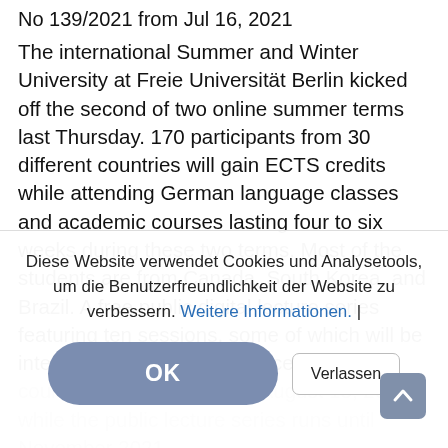No 139/2021 from Jul 16, 2021
The international Summer and Winter University at Freie Universität Berlin kicked off the second of two online summer terms last Thursday. 170 participants from 30 different countries will gain ECTS credits while attending German language classes and academic courses lasting four to six weeks during these two terms. Most of the students are from Canada, South Korea, and Brazil. A free public digital lecture series featuring ten sessions, some of which will be interactive, will also take place. The online course program goes until August 13, 2021, while the public lecture series runs until November 2021. Besides "German Language a…
Diese Website verwendet Cookies und Analysetools, um die Benutzerfreundlichkeit der Website zu verbessern. Weitere Informationen. |
OK
Verlassen